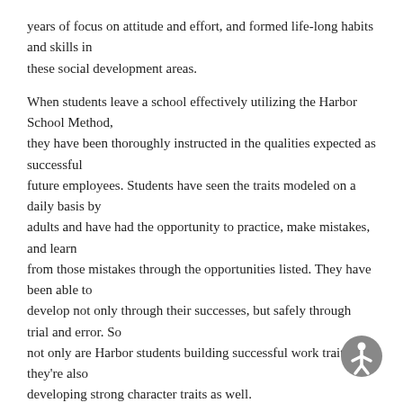years of focus on attitude and effort, and formed life-long habits and skills in these social development areas.
When students leave a school effectively utilizing the Harbor School Method, they have been thoroughly instructed in the qualities expected as successful future employees. Students have seen the traits modeled on a daily basis by adults and have had the opportunity to practice, make mistakes, and learn from those mistakes through the opportunities listed. They have been able to develop not only through their successes, but safely through trial and error. So not only are Harbor students building successful work traits, they're also developing strong character traits as well.
As educators we have a mandate: prepare our students for the world. As